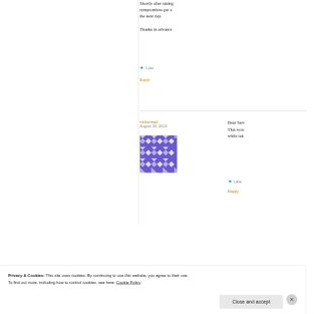Shortly after taking symptomless gut a... the next day.
Thanks in advance
Like
Reply
nickwread
August 30, 2019
Dear Stev... That wou... while tak...
Like
Reply
Privacy & Cookies: This site uses cookies. By continuing to use this website, you agree to their use.
To find out more, including how to control cookies, see here: Cookie Policy
Close and accept